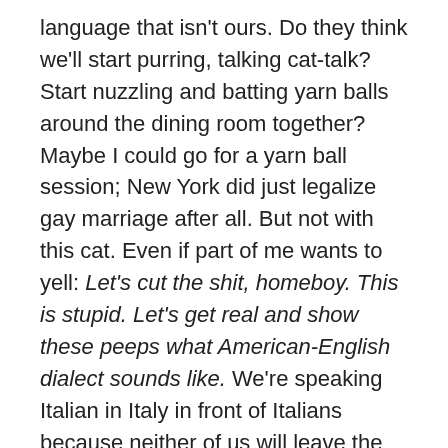language that isn't ours. Do they think we'll start purring, talking cat-talk? Start nuzzling and batting yarn balls around the dining room together? Maybe I could go for a yarn ball session; New York did just legalize gay marriage after all. But not with this cat. Even if part of me wants to yell: Let's cut the shit, homeboy. This is stupid. Let's get real and show these peeps what American-English dialect sounds like. We're speaking Italian in Italy in front of Italians because neither of us will leave the kitty basket. Because neither of us wants to gut a mouse in public. Because we've just worked too hard.
*
Near midnight, and everyone's going home; we all walk out to our cars and Ted takes care not to walk too close to me for fear I'll start rolling around in the dirt. Cheek kisses. Thank you so much; the dinner was exquisite, Flora. And